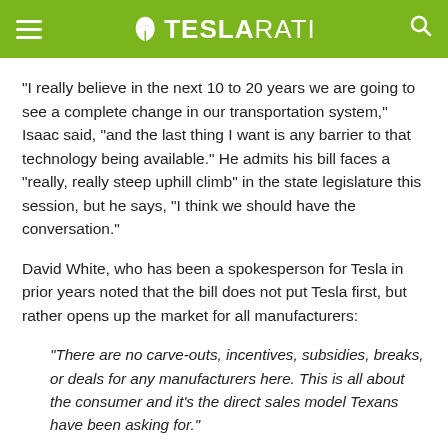TESLARATI
“I really believe in the next 10 to 20 years we are going to see a complete change in our transportation system,” Isaac said, “and the last thing I want is any barrier to that technology being available.” He admits his bill faces a “really, really steep uphill climb” in the state legislature this session, but he says, “I think we should have the conversation.”
David White, who has been a spokesperson for Tesla in prior years noted that the bill does not put Tesla first, but rather opens up the market for all manufacturers:
“There are no carve-outs, incentives, subsidies, breaks, or deals for any manufacturers here. This is all about the consumer and it’s the direct sales model Texans have been asking for.”